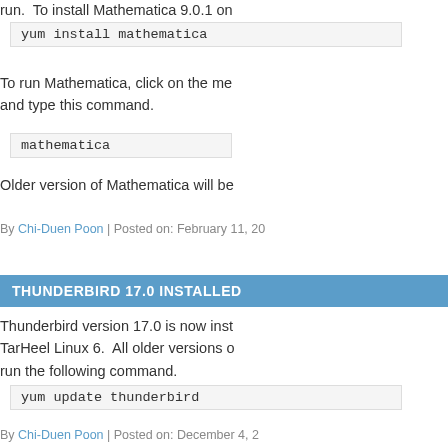run.  To install Mathematica 9.0.1 on
To run Mathematica, click on the me and type this command.
Older version of Mathematica will be
By Chi-Duen Poon | Posted on: February 11, 20
THUNDERBIRD 17.0 INSTALLED
Thunderbird version 17.0 is now inst TarHeel Linux 6.  All older versions o run the following command.
By Chi-Duen Poon | Posted on: December 4, 2